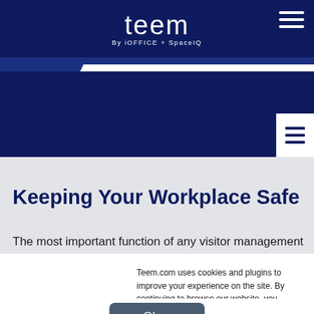teem
By iOFFICE + SpaceIQ
Keeping Your Workplace Safe
The most important function of any visitor management
Teem.com uses cookies and plugins to improve your experience on the site. By continuing to browse our website, you consent to the use of cookies and plugins. For more information, see our privacy policy.
Okay